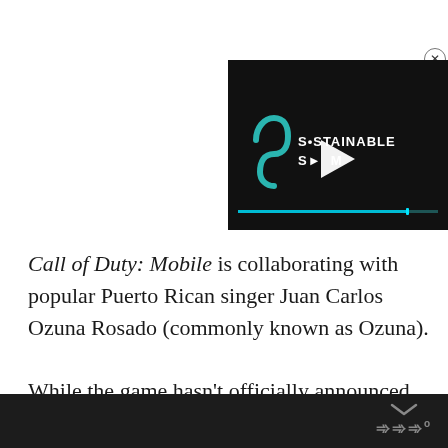[Figure (screenshot): Video player thumbnail with dark background showing 'SUSTAINABLE STREAM' logo with teal/green wave icon and a play button. A teal progress bar is visible at the bottom of the player. A close (X) button is in the top-right corner.]
Call of Duty: Mobile is collaborating with popular Puerto Rican singer Juan Carlos Ozuna Rosado (commonly known as Ozuna).
While the game hasn't officially announced the tie-up, the singer unveiled the collab through a story on Instagram.